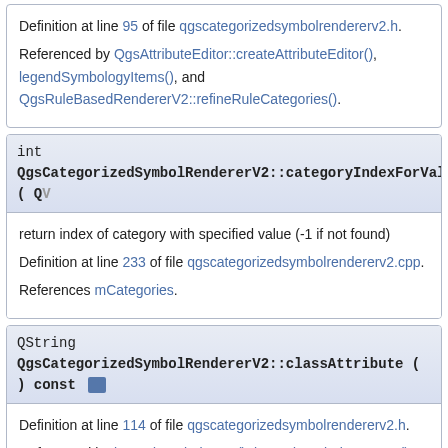Definition at line 95 of file qgscategorizedsymbolrendererv2.h.

Referenced by QgsAttributeEditor::createAttributeEditor(), legendSymbologyItems(), and QgsRuleBasedRendererV2::refineRuleCategories().
int QgsCategorizedSymbolRendererV2::categoryIndexForValue ( QV
return index of category with specified value (-1 if not found)

Definition at line 233 of file qgscategorizedsymbolrendererv2.cpp.

References mCategories.
QString QgsCategorizedSymbolRendererV2::classAttribute ( ) const
Definition at line 114 of file qgscategorizedsymbolrendererv2.h.

Referenced by legendSymbolItems(), legendSymbologyItems(), and QgsRuleBasedRendererV2::refineRuleCategories().